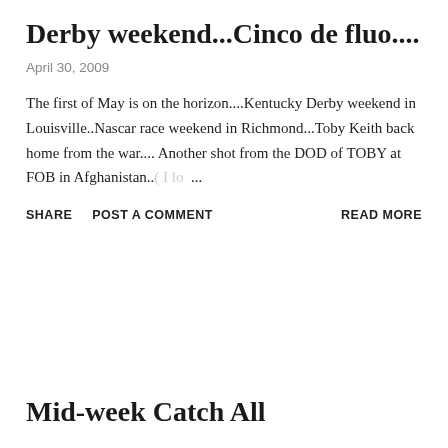Derby weekend…Cinco de fluo….
April 30, 2009
The first of May is on the horizon....Kentucky Derby weekend in Louisville..Nascar race weekend in Richmond...Toby Keith back home from the war.... Another shot from the DOD of TOBY at FOB in Afghanistan..( I lo ...
SHARE   POST A COMMENT   READ MORE
Mid-week Catch All